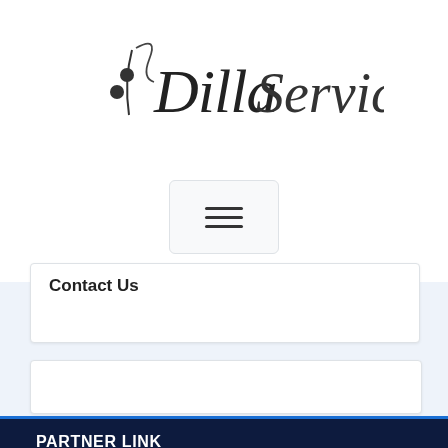[Figure (logo): DillaService script logo with musical note decoration]
[Figure (other): Hamburger menu button icon (three horizontal lines)]
Contact Us
PARTNER LINK